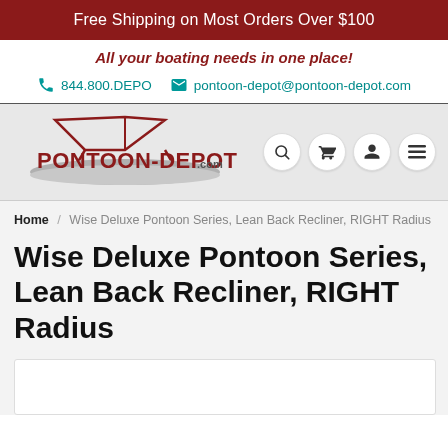Free Shipping on Most Orders Over $100
All your boating needs in one place!
844.800.DEPO   pontoon-depot@pontoon-depot.com
[Figure (logo): Pontoon-Depot.com logo with pontoon boat graphic and red text]
Home / Wise Deluxe Pontoon Series, Lean Back Recliner, RIGHT Radius
Wise Deluxe Pontoon Series, Lean Back Recliner, RIGHT Radius
[Figure (photo): Product image area (white box, partially visible)]